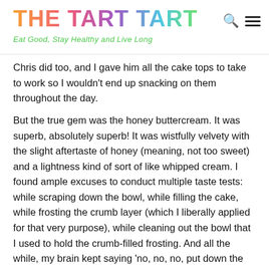THE TART TART — Eat Good, Stay Healthy and Live Long
Chris did too, and I gave him all the cake tops to take to work so I wouldn't end up snacking on them throughout the day.
But the true gem was the honey buttercream. It was superb, absolutely superb! It was wistfully velvety with the slight aftertaste of honey (meaning, not too sweet) and a lightness kind of sort of like whipped cream. I found ample excuses to conduct multiple taste tests: while scraping down the bowl, while filling the cake, while frosting the crumb layer (which I liberally applied for that very purpose), while cleaning out the bowl that I used to hold the crumb-filled frosting. And all the while, my brain kept saying 'no, no, no, put down the spatula, Linda!' because, being the sensible organ that it is, you can't get past the fact that the frosting is made almost